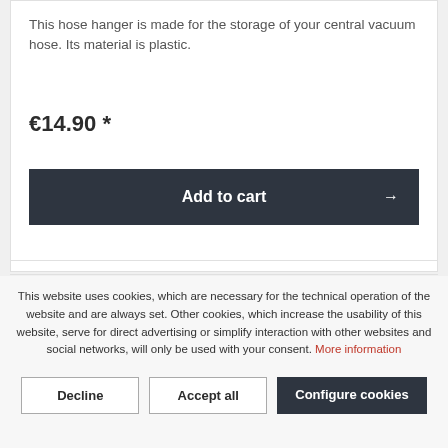This hose hanger is made for the storage of your central vacuum hose. Its material is plastic.
€14.90 *
Add to cart →
This website uses cookies, which are necessary for the technical operation of the website and are always set. Other cookies, which increase the usability of this website, serve for direct advertising or simplify interaction with other websites and social networks, will only be used with your consent. More information
Decline
Accept all
Configure cookies